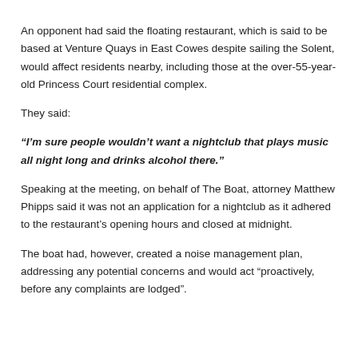An opponent had said the floating restaurant, which is said to be based at Venture Quays in East Cowes despite sailing the Solent, would affect residents nearby, including those at the over-55-year-old Princess Court residential complex.
They said:
“I’m sure people wouldn’t want a nightclub that plays music all night long and drinks alcohol there.”
Speaking at the meeting, on behalf of The Boat, attorney Matthew Phipps said it was not an application for a nightclub as it adhered to the restaurant’s opening hours and closed at midnight.
The boat had, however, created a noise management plan, addressing any potential concerns and would act “proactively, before any complaints are lodged”.